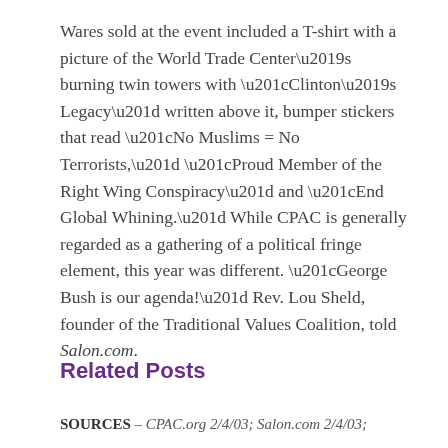Wares sold at the event included a T-shirt with a picture of the World Trade Center’s burning twin towers with “Clinton’s Legacy” written above it, bumper stickers that read “No Muslims = No Terrorists,” “Proud Member of the Right Wing Conspiracy” and “End Global Whining.” While CPAC is generally regarded as a gathering of a political fringe element, this year was different. “George Bush is our agenda!” Rev. Lou Sheld, founder of the Traditional Values Coalition, told Salon.com.
Related Posts
SOURCES – CPAC.org 2/4/03; Salon.com 2/4/03;